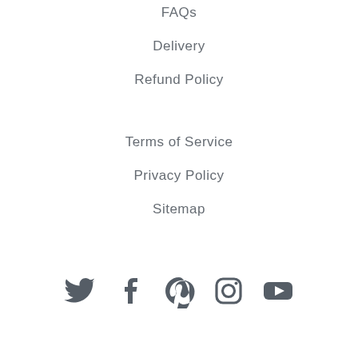FAQs
Delivery
Refund Policy
Terms of Service
Privacy Policy
Sitemap
[Figure (infographic): Social media icons: Twitter, Facebook, Pinterest, Instagram, YouTube]